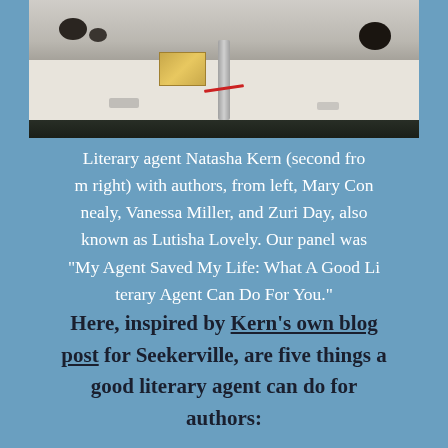[Figure (photo): Photo of a table with a metal stand/microphone, a gold box/device, and dark circles/objects on a light-colored table surface, with a dark background strip at the bottom]
Literary agent Natasha Kern (second from right) with authors, from left, Mary Connealy, Vanessa Miller, and Zuri Day, also known as Lutisha Lovely. Our panel was “My Agent Saved My Life: What A Good Literary Agent Can Do For You.”
Here, inspired by Kern’s own blog post for Seekerville, are five things a good literary agent can do for authors: